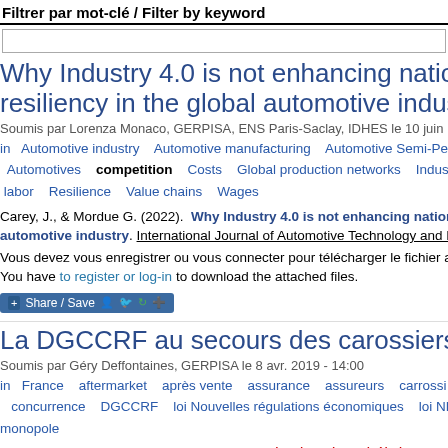Filtrer par mot-clé / Filter by keyword
Why Industry 4.0 is not enhancing national resiliency in the global automotive industry
Soumis par Lorenza Monaco, GERPISA, ENS Paris-Saclay, IDHES le 10 juin
in  Automotive industry   Automotive manufacturing   Automotive Semi-Per  Automotives  competition  Costs  Global production networks  Industry  labor  Resilience  Value chains  Wages
Carey, J., & Mordue G. (2022).  Why Industry 4.0 is not enhancing national automotive industry. International Journal of Automotive Technology and M…
Vous devez vous enregistrer ou vous connecter pour télécharger le fichier att…
You have to register or log-in to download the attached files.
[Figure (other): Share/Save button with social media icons]
La DGCCRF au secours des carossier…
Soumis par Géry Deffontaines, GERPISA le 8 avr. 2019 - 14:00
in  France  aftermarket  après vente  assurance  assureurs  carrossi…  concurrence  DGCCRF  loi Nouvelles régulations économiques  loi NR  monopole
· la chronique hébdoma…